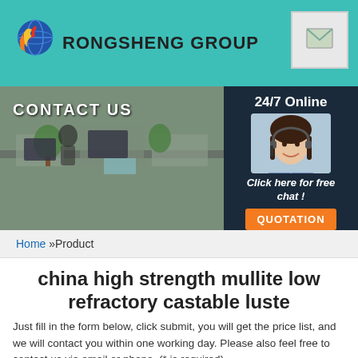[Figure (logo): Rongsheng Group logo with flame and globe icon, teal header bar]
[Figure (photo): Office/call center background banner image with CONTACT US text overlay. Right side shows 24/7 Online customer service agent photo with chat and quotation button.]
Home »Product
china high strength mullite low refractory castable luste
Just fill in the form below, click submit, you will get the price list, and we will contact you within one working day. Please also feel free to contact us via email or phone. (* is required).
Name: